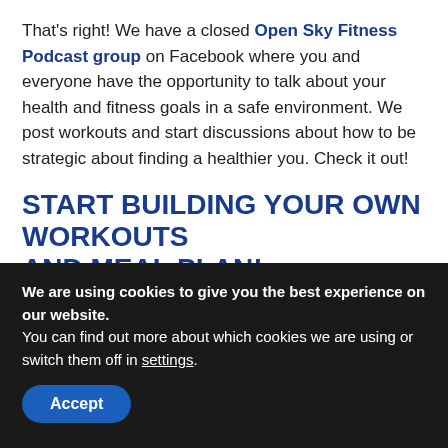That's right! We have a closed Open Sky Fitness Podcast group on Facebook where you and everyone have the opportunity to talk about your health and fitness goals in a safe environment. We post workouts and start discussions about how to be strategic about finding a healthier you. Check it out!
START BUILDING YOUR OWN WORKOUTS AND MEAL PLAN!
Download Results Tracker here!
Click To Download Home Workout Tracker...
We are using cookies to give you the best experience on our website.
You can find out more about which cookies we are using or switch them off in settings.